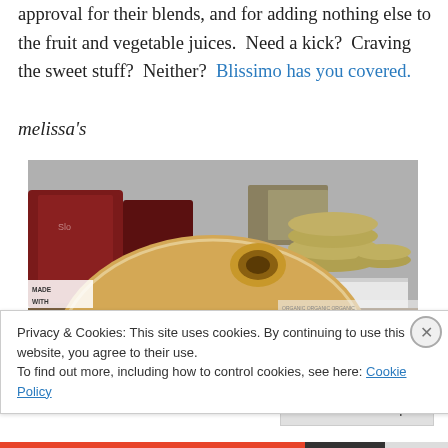approval for their blends, and for adding nothing else to the fruit and vegetable juices.  Need a kick?  Craving the sweet stuff?  Neither?  Blissimo has you covered.
melissa's
[Figure (photo): A large jicama or similar round vegetable/tuber wrapped in plastic, sitting in front of food packages and canning jar lids on a shelf. Labels visible include 'Made With' and what appears to be 'Sloe' branding.]
Privacy & Cookies: This site uses cookies. By continuing to use this website, you agree to their use.
To find out more, including how to control cookies, see here: Cookie Policy
Close and accept